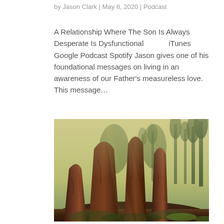by Jason Clark | May 8, 2020 | Podcast
A Relationship Where The Son Is Always Desperate Is Dysfunctional          iTunes Google Podcast Spotify Jason gives one of his foundational messages on living in an awareness of our Father's measureless love. This message...
[Figure (photo): Photograph of tall redwood or sequoia trees in a misty forest with warm yellowish-green light filtering through the canopy, ground covered with dirt and sparse green grass.]